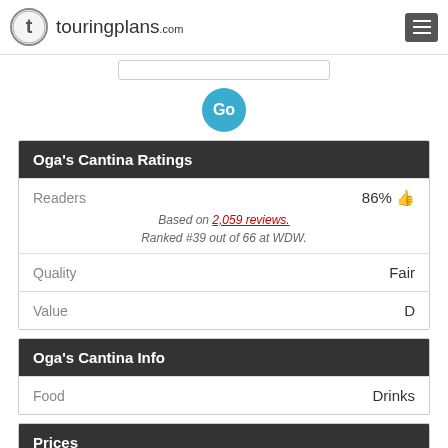touringplans.com
| Oga's Cantina Ratings |  |
| --- | --- |
| Readers | 86% 👍 |
| Based on 2,059 reviews. Ranked #39 out of 66 at WDW. |  |
| Quality | Fair |
| Value | D |
| Oga's Cantina Info |  |
| --- | --- |
| Food | Drinks |
Prices